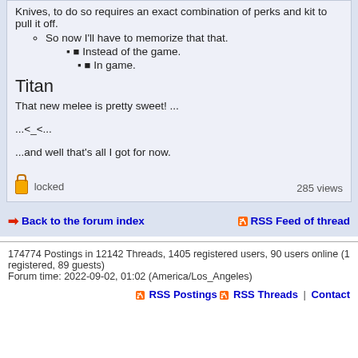So now I'll have to memorize that that.
Instead of the game.
In game.
Titan
That new melee is pretty sweet! ...
...<_<...
...and well that's all I got for now.
locked   285 views
Back to the forum index
RSS Feed of thread
174774 Postings in 12142 Threads, 1405 registered users, 90 users online (1 registered, 89 guests)
Forum time: 2022-09-02, 01:02 (America/Los_Angeles)
RSS Postings | RSS Threads | Contact